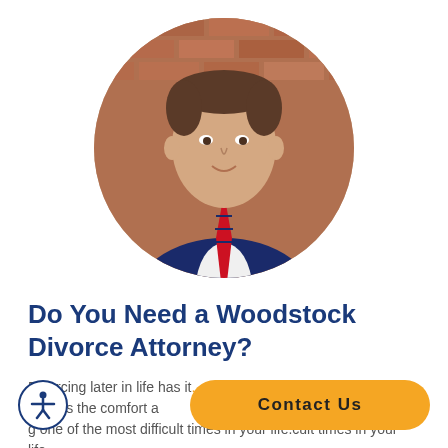[Figure (photo): Professional headshot of a middle-aged man in a dark navy suit with a red and navy striped tie, in front of a brick wall background, presented in a circular crop.]
Do You Need a Woodstock Divorce Attorney?
Divorcing later in life has it... rovides the comfort a... g one of the most difficult times in your life.